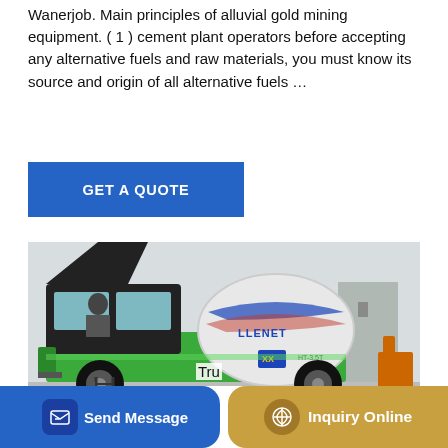Wanerjob. Main principles of alluvial gold mining equipment. ( 1 ) cement plant operators before accepting any alternative fuels and raw materials, you must know its source and origin of all alternative fuels …
[Figure (other): Blue button with white text 'GET A QUOTE']
[Figure (photo): Green self-loading concrete mixer truck (LLENET brand) with a person seated in the cab, photographed outdoors on a construction site]
Tru
TKING, Sinotruk, Liugong, Hino
[Figure (other): Bottom bar with 'Send Message' button (blue) on left and 'Inquiry Online' button (gold/tan) on right]